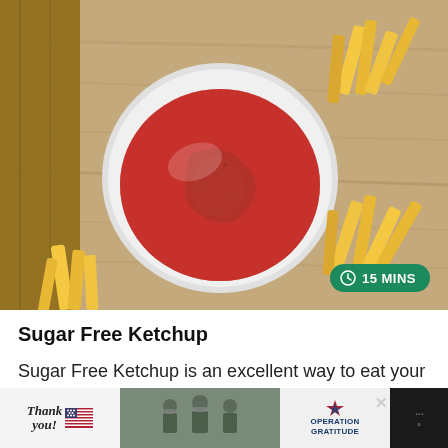[Figure (photo): Overhead view of a white bowl filled with red ketchup on a wooden cutting board, surrounded by french fries. Time badge showing '15 MINS' in green pill shape overlaid at bottom right.]
Sugar Free Ketchup
Sugar Free Ketchup is an excellent way to eat your favorite condiment on a keto
[Figure (photo): Advertisement banner: 'Thank you' handwritten text with American flag, military personnel photo in center, Operation Gratitude logo on right, close button X, weather icon on far right.]